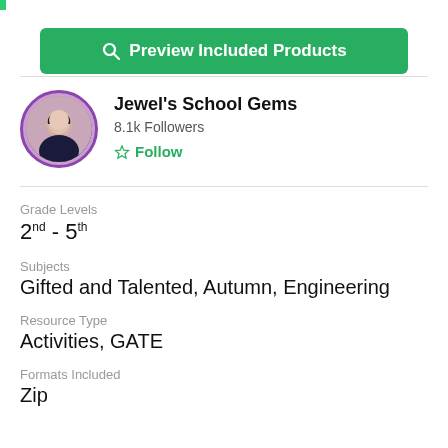[Figure (other): Green preview button with search icon]
[Figure (photo): Circular profile photo of Jewel's School Gems author with purple border]
Jewel's School Gems
8.1k Followers
Follow
Grade Levels
2nd - 5th
Subjects
Gifted and Talented, Autumn, Engineering
Resource Type
Activities, GATE
Formats Included
Zip